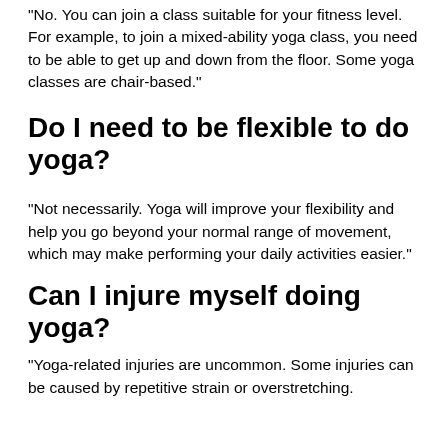“No. You can join a class suitable for your fitness level. For example, to join a mixed-ability yoga class, you need to be able to get up and down from the floor. Some yoga classes are chair-based.”
Do I need to be flexible to do yoga?
“Not necessarily. Yoga will improve your flexibility and help you go beyond your normal range of movement, which may make performing your daily activities easier.”
Can I injure myself doing yoga?
“Yoga-related injuries are uncommon. Some injuries can be caused by repetitive strain or overstretching.